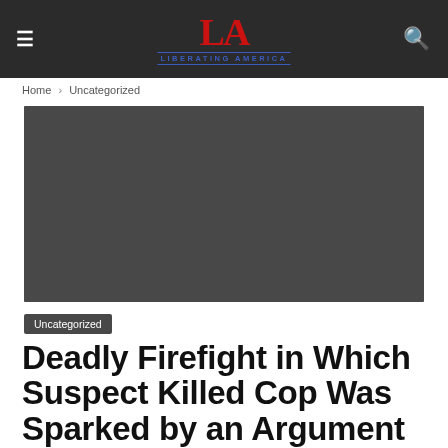LA LIBERATING AMERICA
Home › Uncategorized
[Figure (photo): Dark gray placeholder image for article hero photo]
Uncategorized
Deadly Firefight in Which Suspect Killed Cop Was Sparked by an Argument